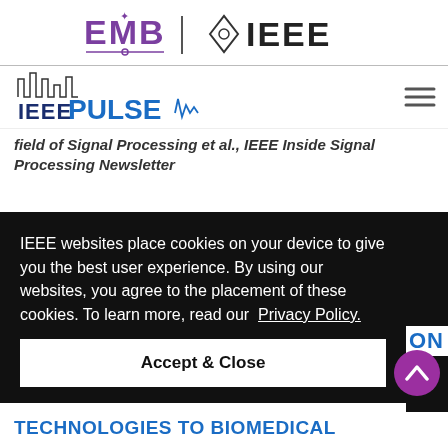[Figure (logo): EMB | IEEE logo banner at top of page]
[Figure (logo): IEEE PULSE magazine logo in navigation bar]
field of Signal Processing et al., IEEE Inside Signal Processing Newsletter
IEEE websites place cookies on your device to give you the best user experience. By using our websites, you agree to the placement of these cookies. To learn more, read our Privacy Policy.
Accept & Close
TECHNOLOGIES TO BIOMEDICAL